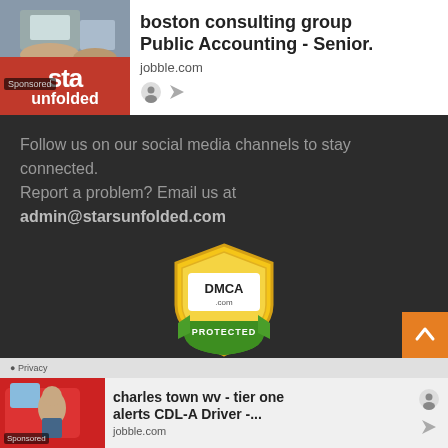[Figure (screenshot): Sponsored advertisement banner at top: Stars Unfolded logo on left (red box with white text), photo of person at laptop in background. Ad text reads 'boston consulting group Public Accounting - Senior. jobble.com']
Follow us on our social media channels to stay connected. Report a problem? Email us at admin@starsunfolded.com
[Figure (logo): DMCA Protected badge - gold shield with DMCA .com text, green ribbon at bottom with PROTECTED text]
StarsUnfolded Copyright © 2022
[Figure (screenshot): Sponsored advertisement banner at bottom: photo of woman in red truck cab on left, Ad text reads 'charles town wv - tier one alerts CDL-A Driver -... jobble.com']